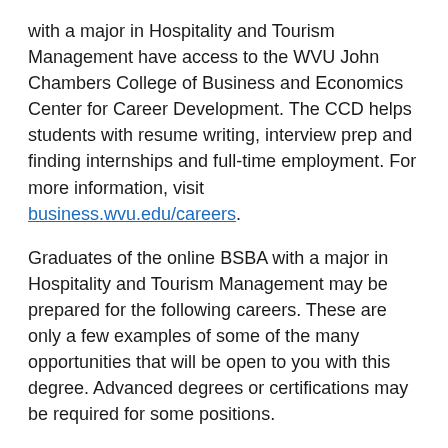with a major in Hospitality and Tourism Management have access to the WVU John Chambers College of Business and Economics Center for Career Development. The CCD helps students with resume writing, interview prep and finding internships and full-time employment. For more information, visit business.wvu.edu/careers.
Graduates of the online BSBA with a major in Hospitality and Tourism Management may be prepared for the following careers. These are only a few examples of some of the many opportunities that will be open to you with this degree. Advanced degrees or certifications may be required for some positions.
[Figure (other): Gold/yellow horizontal decorative bar divider]
Food Service Manager
Projected Growth:11% or higher *Bright Outlook